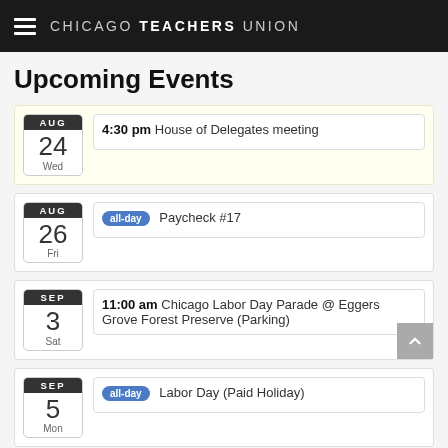CHICAGO TEACHERS UNION
Upcoming Events
AUG 24 Wed – 4:30 pm House of Delegates meeting
AUG 26 Fri – all-day Paycheck #17
SEP 3 Sat – 11:00 am Chicago Labor Day Parade @ Eggers Grove Forest Preserve (Parking)
SEP 5 Mon – all-day Labor Day (Paid Holiday)
SEP 9 Fri – all-day Paycheck #18 (1st of year for te...